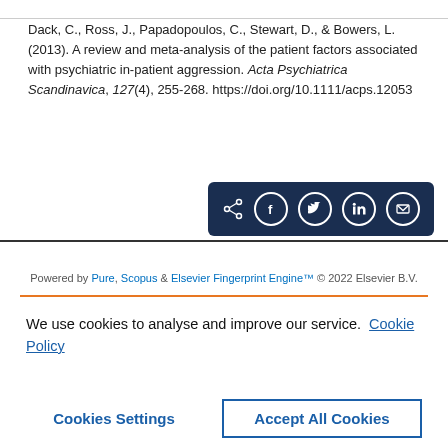Dack, C., Ross, J., Papadopoulos, C., Stewart, D., & Bowers, L. (2013). A review and meta-analysis of the patient factors associated with psychiatric in-patient aggression. Acta Psychiatrica Scandinavica, 127(4), 255-268. https://doi.org/10.1111/acps.12053
[Figure (infographic): Social share button bar with icons for share, Facebook, Twitter, LinkedIn, and email on a dark navy background]
Powered by Pure, Scopus & Elsevier Fingerprint Engine™ © 2022 Elsevier B.V.
We use cookies to analyse and improve our service. Cookie Policy
Cookies Settings    Accept All Cookies